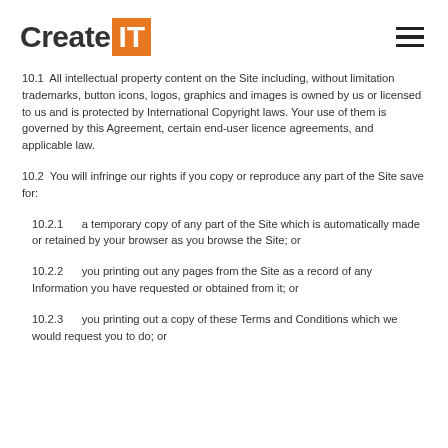CreateIT
10.1  All intellectual property content on the Site including, without limitation trademarks, button icons, logos, graphics and images is owned by us or licensed to us and is protected by International Copyright laws. Your use of them is governed by this Agreement, certain end-user licence agreements, and applicable law.
10.2  You will infringe our rights if you copy or reproduce any part of the Site save for:
10.2.1      a temporary copy of any part of the Site which is automatically made or retained by your browser as you browse the Site; or
10.2.2      you printing out any pages from the Site as a record of any Information you have requested or obtained from it; or
10.2.3      you printing out a copy of these Terms and Conditions which we would request you to do; or